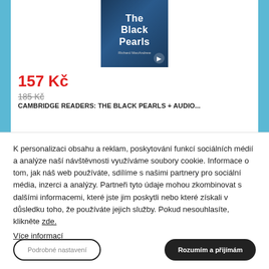[Figure (illustration): Book cover for 'The Black Pearls' by Richard MacAndrew with audio icon, dark blue background]
157 Kč
185 Kč
CAMBRIDGE READERS: THE BLACK PEARLS + AUDIO...
K personalizaci obsahu a reklam, poskytování funkcí sociálních médií a analýze naší návštěvnosti využíváme soubory cookie. Informace o tom, jak náš web používáte, sdílíme s našimi partnery pro sociální média, inzerci a analýzy. Partneři tyto údaje mohou zkombinovat s dalšími informacemi, které jste jim poskytli nebo které získali v důsledku toho, že používáte jejich služby. Pokud nesouhlasíte, klikněte zde.
Více informací
Podrobné nastavení
Rozumím a přijímám